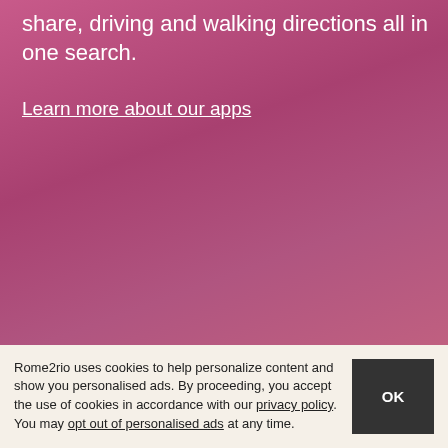share, driving and walking directions all in one search.
Learn more about our apps
Rome2rio uses cookies to help personalize content and show you personalised ads. By proceeding, you accept the use of cookies in accordance with our privacy policy. You may opt out of personalised ads at any time.